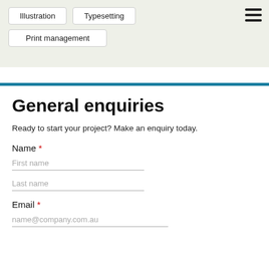[Figure (screenshot): Top navigation area with light green background showing two buttons: 'Illustration' and 'Typesetting', a 'Print management' button below, and a hamburger menu icon in the top right corner.]
General enquiries
Ready to start your project? Make an enquiry today.
Name *
First name
Last name
Email *
name@company.com.au